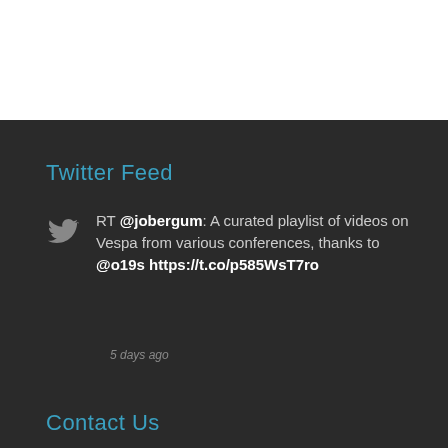Twitter Feed
RT @jobergum: A curated playlist of videos on Vespa from various conferences, thanks to @o19s https://t.co/p585WsT7ro
5 days ago
Contact Us